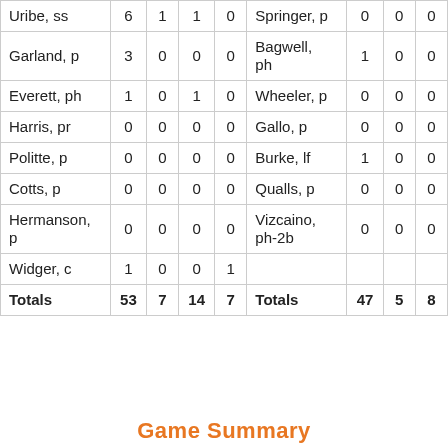| Player | AB | R | H | RBI | Player | AB | R | H |
| --- | --- | --- | --- | --- | --- | --- | --- | --- |
| Uribe, ss | 6 | 1 | 1 | 0 | Springer, p | 0 | 0 | 0 |
| Garland, p | 3 | 0 | 0 | 0 | Bagwell, ph | 1 | 0 | 0 |
| Everett, ph | 1 | 0 | 1 | 0 | Wheeler, p | 0 | 0 | 0 |
| Harris, pr | 0 | 0 | 0 | 0 | Gallo, p | 0 | 0 | 0 |
| Politte, p | 0 | 0 | 0 | 0 | Burke, lf | 1 | 0 | 0 |
| Cotts, p | 0 | 0 | 0 | 0 | Qualls, p | 0 | 0 | 0 |
| Hermanson, p | 0 | 0 | 0 | 0 | Vizcaino, ph-2b | 0 | 0 | 0 |
| Widger, c | 1 | 0 | 0 | 1 |  |  |  |  |
| Totals | 53 | 7 | 14 | 7 | Totals | 47 | 5 | 8 |
Game Summary